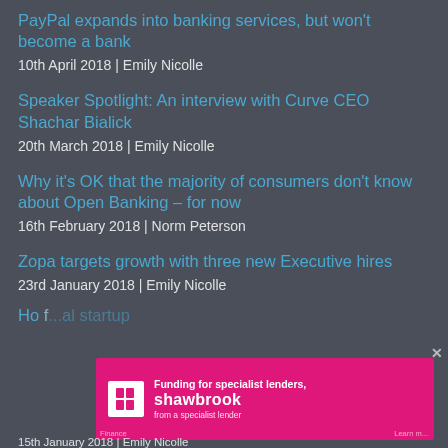PayPal expands into banking services, but won't become a bank
10th April 2018 | Emily Nicolle
Speaker Spotlight: An interview with Curve CEO Shachar Bialick
20th March 2018 | Emily Nicolle
Why it's OK that the majority of consumers don't know about Open Banking – for now
16th February 2018 | Norm Peterson
Zopa targets growth with three new Executive hires
23rd January 2018 | Emily Nicolle
Ho [partial] ...al startup
15th January 2018 | Emily Nicolle
[Figure (other): Shawbrook Bank advertisement banner: pink background with Shawbrook logo and text 'Funding for specialist lenders, from a specialist lender']